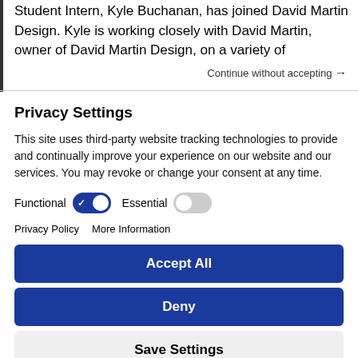Student Intern, Kyle Buchanan, has joined David Martin Design. Kyle is working closely with David Martin, owner of David Martin Design, on a variety of
Continue without accepting →
Privacy Settings
This site uses third-party website tracking technologies to provide and continually improve your experience on our website and our services. You may revoke or change your consent at any time.
Functional  [toggle on]  Essential  [toggle off]
Privacy Policy   More Information
Accept All
Deny
Save Settings
Powered by Usercentrics Consent Management